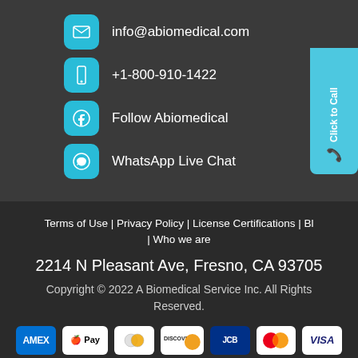info@abiomedical.com
+1-800-910-1422
Follow Abiomedical
WhatsApp Live Chat
Terms of Use | Privacy Policy | License Certifications | Bl | Who we are
2214 N Pleasant Ave, Fresno, CA 93705
Copyright © 2022 A Biomedical Service Inc. All Rights Reserved.
[Figure (logo): Payment method logos: AMEX, Apple Pay, Diners Club, Discover, JCB, Mastercard, Visa]